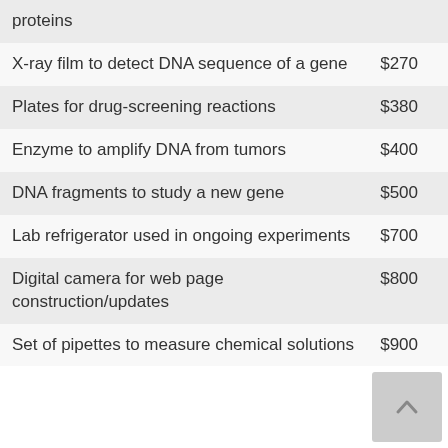| Item | Price |
| --- | --- |
| proteins |  |
| X-ray film to detect DNA sequence of a gene | $270 |
| Plates for drug-screening reactions | $380 |
| Enzyme to amplify DNA from tumors | $400 |
| DNA fragments to study a new gene | $500 |
| Lab refrigerator used in ongoing experiments | $700 |
| Digital camera for web page construction/updates | $800 |
| Set of pipettes to measure chemical solutions | $900 |